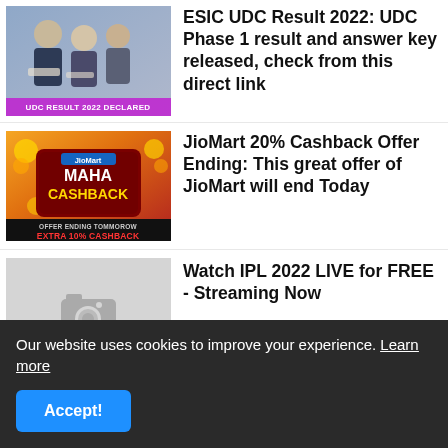[Figure (photo): Students/people looking at papers, with overlay text 'UDC RESULT 2022 DECLARED']
ESIC UDC Result 2022: UDC Phase 1 result and answer key released, check from this direct link
[Figure (photo): JioMart Maha Cashback promotional banner with 'OFFER ENDING TOMMOROW EXTRA 10% CASHBACK']
JioMart 20% Cashback Offer Ending: This great offer of JioMart will end Today
[Figure (photo): Gray placeholder image with camera icon]
Watch IPL 2022 LIVE for FREE - Streaming Now
Our website uses cookies to improve your experience. Learn more
Accept!